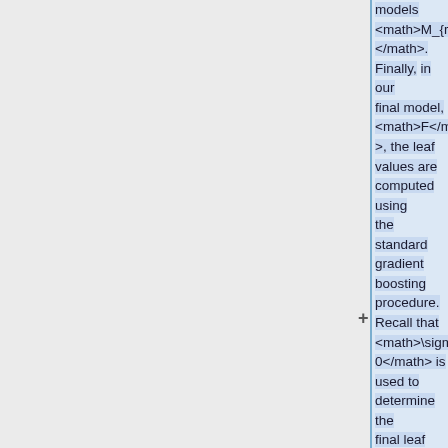models <math>M_{r',j}</math>. Finally, in our final model, <math>F</math>, the leaf values are computed using the standard gradient boosting procedure. Recall that <math>\sigma_0</math> is used to determine the final leaf values. Therefore, once we obtain our final model, we match the